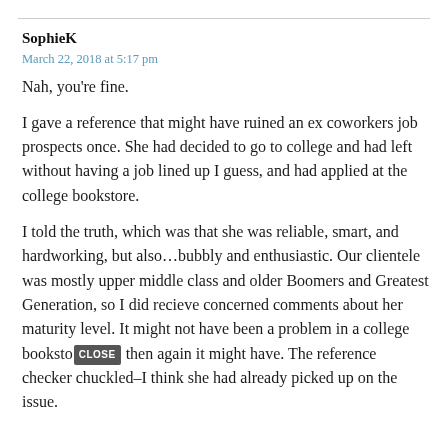SophieK
March 22, 2018 at 5:17 pm
Nah, you're fine.
I gave a reference that might have ruined an ex coworkers job prospects once. She had decided to go to college and had left without having a job lined up I guess, and had applied at the college bookstore.
I told the truth, which was that she was reliable, smart, and hardworking, but also…bubbly and enthusiastic. Our clientele was mostly upper middle class and older Boomers and Greatest Generation, so I did recieve concerned comments about her maturity level. It might not have been a problem in a college bookstore then again it might have. The reference checker chuckled–I think she had already picked up on the issue.